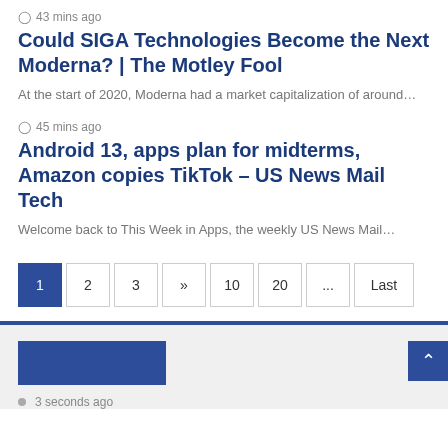43 mins ago
Could SIGA Technologies Become the Next Moderna? | The Motley Fool
At the start of 2020, Moderna had a market capitalization of around…
45 mins ago
Android 13, apps plan for midterms, Amazon copies TikTok – US News Mail Tech
Welcome back to This Week in Apps, the weekly US News Mail…
1
2
3
»
10
20
...
Last
3 seconds ago